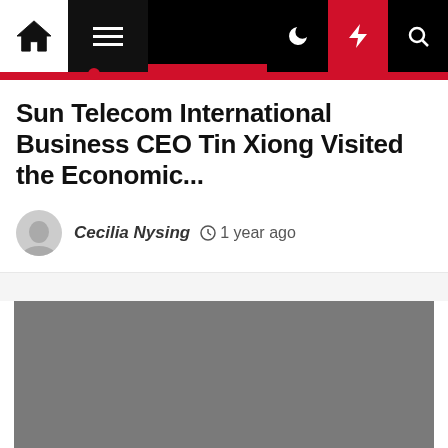Navigation bar with home, menu, dark mode, flash, and search icons
Sun Telecom International Business CEO Tin Xiong Visited the Economic...
Cecilia Nysing  1 year ago
[Figure (photo): Gray placeholder image for article photo]